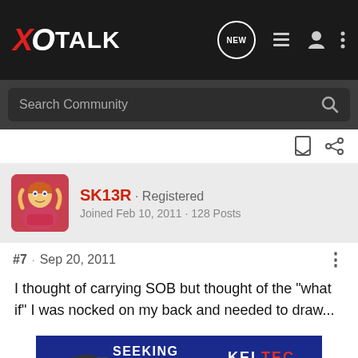XO TALK
Search Community
SK13R · Registered
Joined Feb 10, 2011 · 128 Posts
#7 · Sep 20, 2011
I thought of carrying SOB but thought of the "what if" I was nocked on my back and needed to draw...
[Figure (photo): Advertisement banner for Kel-Tec CP33 pistol with text SEEKING LONG RANGE RELATIONSHIP THE CP33 PISTOL]